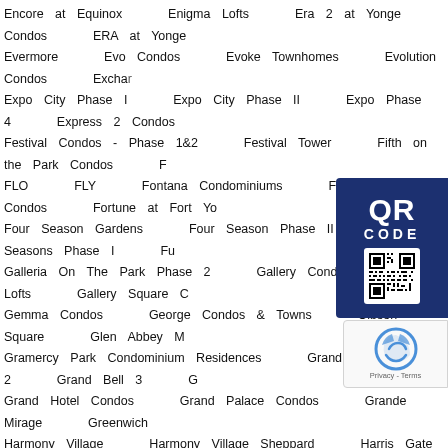Encore at Equinox    Enigma Lofts    Era 2 at Yonge Condos    ERA at Yonge
Evermore    Evo Condos    Evoke Townhomes    Evolution Condos    Exchan
Expo City Phase I    Expo City Phase II    Expo Phase 4    Express 2 Condos
Festival Condos - Phase 1&2    Festival Tower    Fifth on the Park Condos    F
FLO    FLY    Fontana Condominiums    Forma Condos    Fortune at Fort Yo
Four Season Gardens    Four Season Phase II    Four Seasons Phase I    Fu
Galleria On The Park Phase 2    Gallery Condos and Lofts    Gallery Square C
Gemma Condos    George Condos & Towns    Gibson Square    Glen Abbey M
Gramercy Park Condominium Residences    Grand Bell 2    Grand Bell 3    G
Grand Hotel Condos    Grand Palace Condos    Grande Mirage    Greenwich
Harmony Village    Harmony Village Sheppard    Harris Gate Towns    Haven
Heartwood the Beach    High Park Urban Towns    High Point Urban Town    H
Highlights condos    HighPark Condominiums    HIGHWAY 7 & JAM
Hullmark Centre    Hunt Club Terrace    Huntingdale Towns    ICE
Indigo 2 Condominiums In Maple    Indigo Bay    Indigo Condominiu
IQ3 Condos    Islington Terrace    IT Lofts    IVY Condo    Ivy Rid
James Condo    James House    JOY Condos    Joy Station Cond
Keewatin Town    Kennedy Circle Condos    Kew Beach Living    Ki
King Charlotte    King Condos    King East Estates    King Plus Condos    Ki
King's Landing Condos    King's Park Condominiums    Kingsmill    KiWi Condo
Lake Suites    Lakehouse Beach Residences    Lakeside Residences    Lakev
Laurent Condos    Lawrence Hill Towns    Leaside Common    Le
Liberty Central    Liberty House    Liberty Market Lofts    Liberty
Line 5 condos    Linea Condos    Link 2 Condos + Lofts    Linx C
Lofts 399    London on the Esplanade    Lotus Condos    Louie Condos    Lo
M City Condos    Mini…    M3 at Metro Place    M3M Condos    MFU C